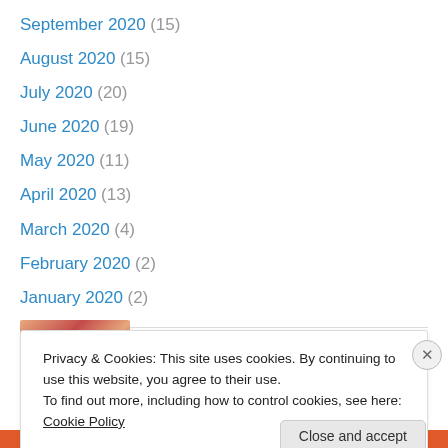September 2020 (15)
August 2020 (15)
July 2020 (20)
June 2020 (19)
May 2020 (11)
April 2020 (13)
March 2020 (4)
February 2020 (2)
January 2020 (2)
Posts I Like
[Figure (photo): Thumbnail image for a blog post]
Privacy & Cookies: This site uses cookies. By continuing to use this website, you agree to their use. To find out more, including how to control cookies, see here: Cookie Policy
Close and accept